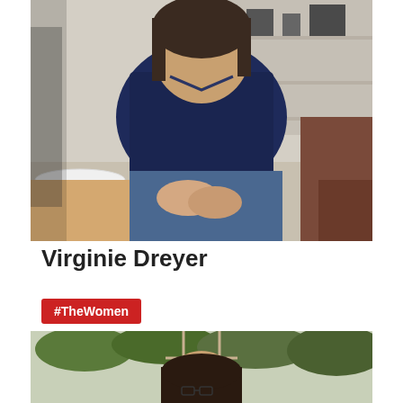[Figure (photo): A woman with dark hair sitting in a restaurant or cafe setting, wearing a navy blue textured cardigan/blouse over jeans, hands clasped in her lap. Background shows shelves, a white plate, and a wooden chair.]
Virginie Dreyer
#TheWomen
[Figure (photo): A woman with dark hair wearing glasses, photographed in front of green plants/foliage. Only the top portion of the image is visible.]